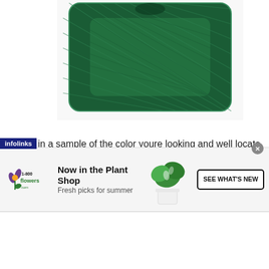[Figure (photo): Dark green paint tray/roller tray viewed from above, showing diagonal ribbed texture pattern]
Bring in a sample of the color youre looking and well locate or create a matching paint color in a matter of seconds. Aces paint color matching service is designed to help you find the right color and shade for any project. You can also bring a rug, piece of fabric even a favorite piece accessory to Ace Hardware of Fort Collins and one of our helpful
[Figure (infographic): 1-800-flowers.com advertisement banner: Now in the Plant Shop - Fresh picks for summer. Shows plant logo, monstera plant image, and SEE WHAT'S NEW button. Infolinks label at top left.]